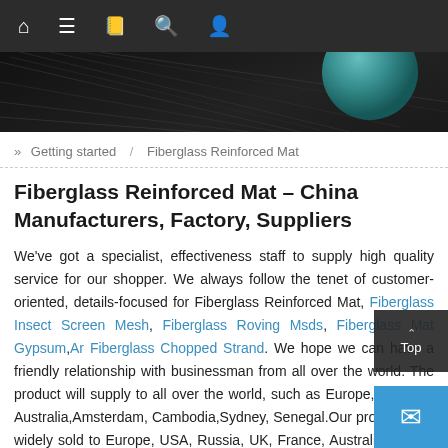Navigation bar with home, menu, book, search, and user icons
[Figure (photo): Dark background hero image with fiberglass strands texture and a teal circular element on the right side]
» Getting started / Fiberglass Reinforced Mat
Fiberglass Reinforced Mat – China Manufacturers, Factory, Suppliers
We've got a specialist, effectiveness staff to supply high quality service for our shopper. We always follow the tenet of customer-oriented, details-focused for Fiberglass Reinforced Mat, Fiberglass Insect Screen Mesh, Fiberglass Roving Msds, Fiberglass Mat Gypsum, Ar Fiberglass Chopped Strand. We hope we can have a friendly relationship with businessman from all over the world. The product will supply to all over the world, such as Europe, America, Australia,Amsterdam, Cambodia,Sydney, Senegal.Our products are widely sold to Europe, USA, Russia, UK, France, Australia, Middle East, South America, Africa, and Southeast Asia, etc. Our solutions are highly recognized our customers from all around the world. And our cor